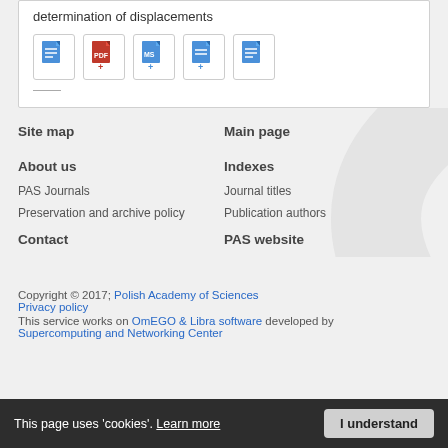determination of displacements
[Figure (other): Row of five document/file icons: blue doc, red PDF, blue MS, blue doc with +, blue doc]
Site map
Main page
About us
Indexes
PAS Journals
Journal titles
Preservation and archive policy
Publication authors
Contact
PAS website
Copyright © 2017; Polish Academy of Sciences
Privacy policy
This service works on OmEGO &Libra software developed by Supercomputing and Networking Center